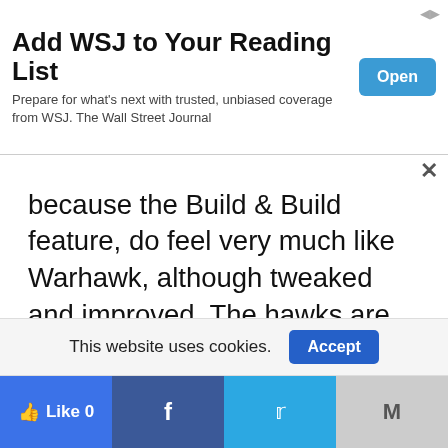[Figure (screenshot): WSJ advertisement banner: 'Add WSJ to Your Reading List' with 'Open' button in blue]
because the Build & Build feature, do feel very much like Warhawk, although tweaked and improved. The hawks are far easier to control now that landing involves transforming into a (also quite deadly) mech, and the stock controls are incredibly easy to get a handle on. The advanced controls scheme, which provides the ability to roll the Starhawks and offers greater maneuverability, is definitely worth the effort to learn. Starhawk retains
This website uses cookies.
[Figure (screenshot): Cookie accept bar with 'Accept' button]
[Figure (screenshot): Social sharing bar with Like 0, Facebook, Twitter, and Gmail buttons]